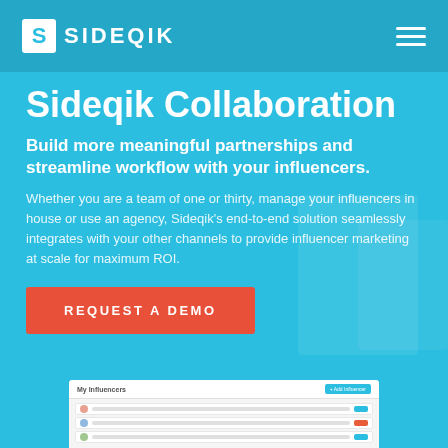[Figure (logo): Sideqik logo: white S in a square box next to SIDEQIK text in white, on a teal header bar with hamburger menu on the right]
Sideqik Collaboration
Build more meaningful partnerships and streamline workflow with your influencers.
Whether you are a team of one or thirty, manage your influencers in house or use an agency, Sideqik’s end-to-end solution seamlessly integrates with your other channels to provide influencer marketing at scale for maximum ROI.
REQUEST A DEMO
[Figure (screenshot): Partial screenshot of the Sideqik influencer management dashboard showing a list of influencers with avatars and tags]